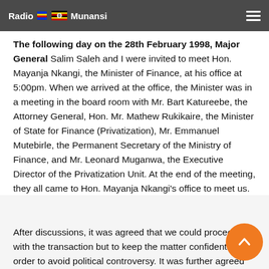Radio Munansi
The following day on the 28th February 1998, Major General Salim Saleh and I were invited to meet Hon. Mayanja Nkangi, the Minister of Finance, at his office at 5:00pm. When we arrived at the office, the Minister was in a meeting in the board room with Mr. Bart Katureebe, the Attorney General, Hon. Mr. Mathew Rukikaire, the Minister of State for Finance (Privatization), Mr. Emmanuel Mutebirle, the Permanent Secretary of the Ministry of Finance, and Mr. Leonard Muganwa, the Executive Director of the Privatization Unit. At the end of the meeting, they all came to Hon. Mayanja Nkangi's office to meet us.
After discussions, it was agreed that we could proceed with the transaction but to keep the matter confidential in order to avoid political controversy. It was further agreed that formal consent for the sale of Greenland Investments would be given